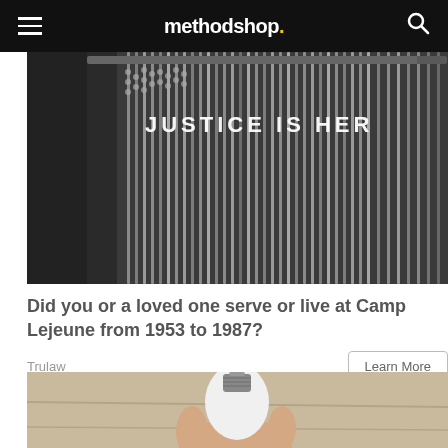methodshop.
[Figure (photo): Ad image showing military dog tags hanging from a rack with text overlay 'JUSTICE IS HERE' on a dark background]
Did you or a loved one serve or live at Camp Lejeune from 1953 to 1987?
Trulaw
Learn More
[Figure (photo): Photo of a hand holding a white LED light bulb against a wooden background]